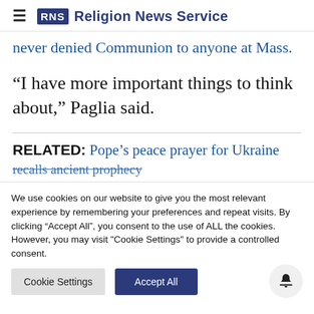RNS Religion News Service
never denied Communion to anyone at Mass.
“I have more important things to think about,” Paglia said.
RELATED: Pope’s peace prayer for Ukraine recalls ancient prophecy
We use cookies on our website to give you the most relevant experience by remembering your preferences and repeat visits. By clicking “Accept All”, you consent to the use of ALL the cookies. However, you may visit "Cookie Settings" to provide a controlled consent.